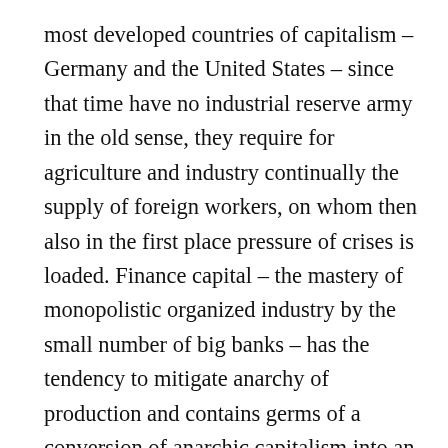most developed countries of capitalism – Germany and the United States – since that time have no industrial reserve army in the old sense, they require for agriculture and industry continually the supply of foreign workers, on whom then also in the first place pressure of crises is loaded. Finance capital – the mastery of monopolistic organized industry by the small number of big banks – has the tendency to mitigate anarchy of production and contains germs of a conversion of anarchic capitalism into an organized capitalist economic order. The unheard strengthening of state power, which finance capital and its policies brought forth, acts in the same direction. In place of the victory of socialism a society of an although organized, yet controlling, not democratically organized economy appears possible, at whose head stood the combined forces of monopolies and the state